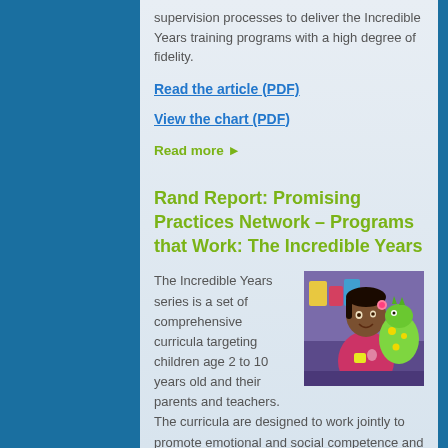supervision processes to deliver the Incredible Years training programs with a high degree of fidelity.
Read the article (PDF)
View the chart (PDF)
Read more ▶
Rand Report: Promising Practices Network – Programs that Work: The Incredible Years
[Figure (photo): A young girl smiling while holding a colorful dinosaur/lizard puppet toy in a classroom setting]
The Incredible Years series is a set of comprehensive curricula targeting children age 2 to 10 years old and their parents and teachers. The curricula are designed to work jointly to promote emotional and social competence and to prevent, reduce, and treat children's behavioral